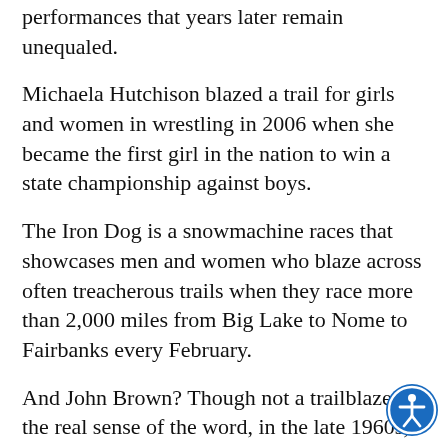performances that years later remain unequaled.
Michaela Hutchison blazed a trail for girls and women in wrestling in 2006 when she became the first girl in the nation to win a state championship against boys.
The Iron Dog is a snowmachine races that showcases men and women who blaze across often treacherous trails when they race more than 2,000 miles from Big Lake to Nome to Fairbanks every February.
And John Brown? Though not a trailblazer in the real sense of the word, in the late 1960s, he and Ketchikan went where none had gone before and few have gone since. Brown helped Ketchikan become Alaska's first high school to win four straight state basketball championships, averaging a double-double his senior season.